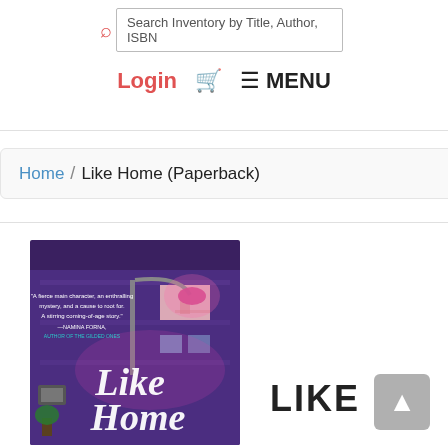[Figure (screenshot): Search bar with magnifying glass icon and placeholder text 'Search Inventory by Title, Author, ISBN']
Login  🛒  ☰ MENU
Home / Like Home (Paperback)
[Figure (illustration): Book cover for 'Like Home' — illustrated night scene of a building with a glowing street lamp casting pink/purple light. Text on cover: 'A fierce main character, an enthralling mystery, and a cause to root for. A stirring coming-of-age story.' —NAMINA FORNA, AUTHOR OF THE GILDED ONES. Title in cursive lettering: Like Home]
LIKE